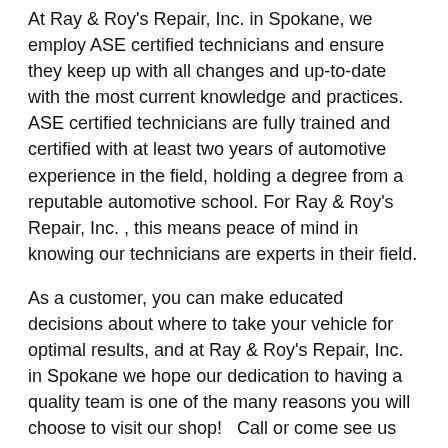At Ray & Roy's Repair, Inc. in Spokane, we employ ASE certified technicians and ensure they keep up with all changes and up-to-date with the most current knowledge and practices.  ASE certified technicians are fully trained and certified with at least two years of automotive experience in the field, holding a degree from a reputable automotive school. For Ray & Roy's Repair, Inc. , this means peace of mind in knowing our technicians are experts in their field.
As a customer, you can make educated decisions about where to take your vehicle for optimal results, and at Ray & Roy's Repair, Inc. in Spokane we hope our dedication to having a quality team is one of the many reasons you will choose to visit our shop!   Call or come see us today, for any of your automotive needs.
Content, including images, displayed on this website is protected by copyright laws. Downloading, republication, retransmission, or reproduction of the content on this website is strictly prohibited